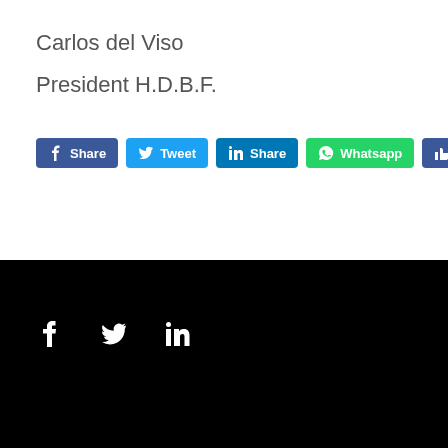Carlos del Viso
President H.D.B.F.
[Figure (infographic): Social sharing buttons: Facebook Share, Tweet, LinkedIn Share, Whatsapp, Like 187]
Footer with Facebook, Twitter, LinkedIn icons on black background